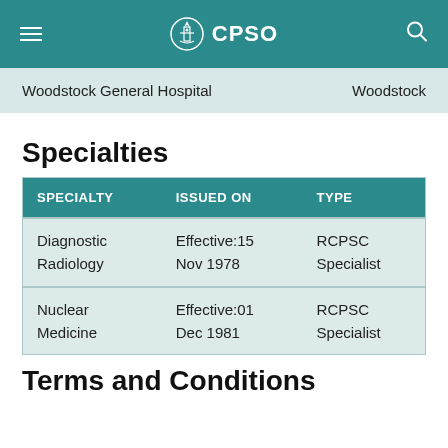CPSO
| Woodstock General Hospital | Woodstock |
Specialties
| SPECIALTY | ISSUED ON | TYPE |
| --- | --- | --- |
| Diagnostic Radiology | Effective:15 Nov 1978 | RCPSC Specialist |
| Nuclear Medicine | Effective:01 Dec 1981 | RCPSC Specialist |
Terms and Conditions